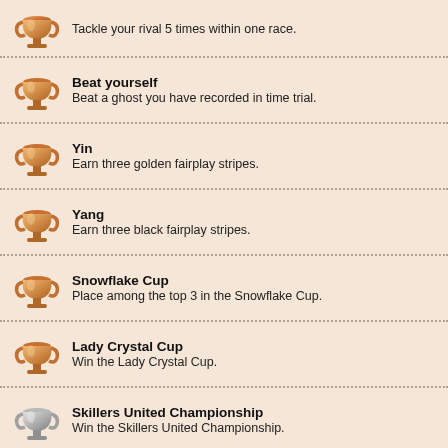Tackle your rival 5 times within one race.
Beat yourself
Beat a ghost you have recorded in time trial.
Yin
Earn three golden fairplay stripes.
Yang
Earn three black fairplay stripes.
Snowflake Cup
Place among the top 3 in the Snowflake Cup.
Lady Crystal Cup
Win the Lady Crystal Cup.
Skillers United Championship
Win the Skillers United Championship.
Winter Stars World Tour Finals
Win the Winter Stars World Tour Finals.
Teambuilding
Win 3 Cups in the first chapter of the career.